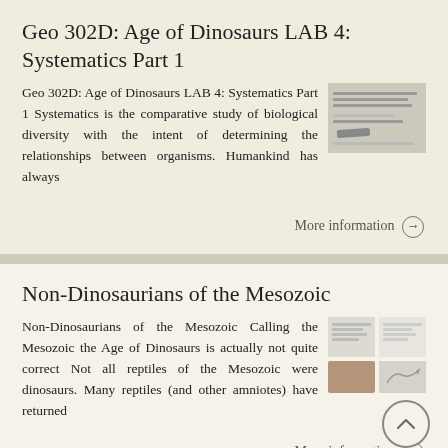Geo 302D: Age of Dinosaurs LAB 4: Systematics Part 1
Geo 302D: Age of Dinosaurs LAB 4: Systematics Part 1 Systematics is the comparative study of biological diversity with the intent of determining the relationships between organisms. Humankind has always
More information →
Non-Dinosaurians of the Mesozoic
Non-Dinosaurians of the Mesozoic Calling the Mesozoic the Age of Dinosaurs is actually not quite correct Not all reptiles of the Mesozoic were dinosaurs. Many reptiles (and other amniotes) have returned
More information →